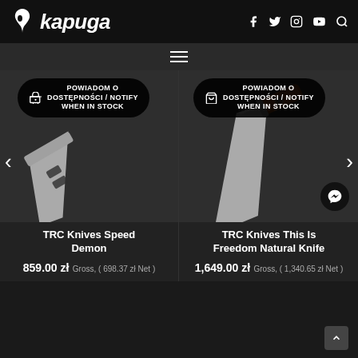[Figure (logo): Kapuga logo with stylized leaf/drop icon and italic bold text]
[Figure (infographic): Social media icons: Facebook, Twitter, Instagram, YouTube and search icon]
[Figure (infographic): Hamburger menu navigation bar]
[Figure (photo): TRC Knives Speed Demon knife product photo on dark background with out-of-stock notify badge]
[Figure (photo): TRC Knives This Is Freedom Natural Knife product photo on dark background with out-of-stock notify badge and messenger button]
TRC Knives Speed Demon
859.00 zł Gross, ( 698.37 zł Net )
TRC Knives This Is Freedom Natural Knife
1,649.00 zł Gross, ( 1,340.65 zł Net )